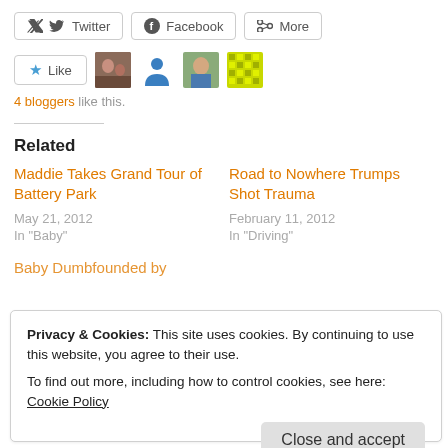Twitter  Facebook  More (share buttons)
[Figure (screenshot): Like button with star icon, followed by four blogger avatar thumbnails]
4 bloggers like this.
Related
Maddie Takes Grand Tour of Battery Park
May 21, 2012
In "Baby"
Road to Nowhere Trumps Shot Trauma
February 11, 2012
In "Driving"
Baby Dumbfounded by
Privacy & Cookies: This site uses cookies. By continuing to use this website, you agree to their use.
To find out more, including how to control cookies, see here: Cookie Policy
Close and accept